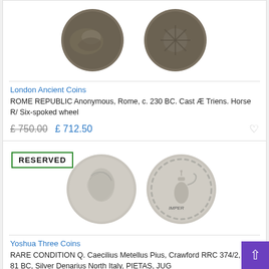[Figure (photo): Two ancient Roman bronze coins shown obverse and reverse - Cast Ae Triens with horse and six-spoked wheel]
London Ancient Coins
ROME REPUBLIC Anonymous, Rome, c. 230 BC. Cast Æ Triens. Horse R/ Six-spoked wheel
£ 750.00  £ 712.50
[Figure (photo): RESERVED badge overlay with two ancient Roman silver coins - denarius showing portrait and reverse with jug/lituus, IMPER inscription]
Yoshua Three Coins
RARE CONDITION Q. Caecilius Metellus Pius, Crawford RRC 374/2, Date 81 BC, Silver Denarius North Italy, PIETAS, JUG